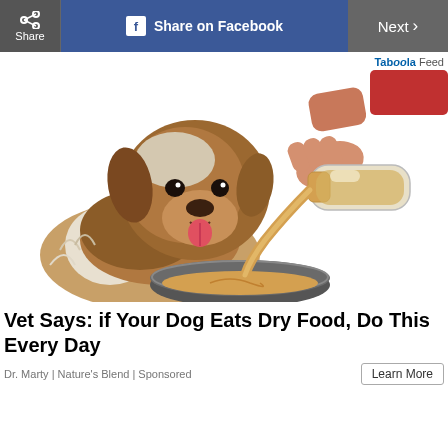Share | Share on Facebook | Next >
Taboola Feed
[Figure (illustration): Illustrated image of a fluffy brown and white dog looking at a hand pouring liquid from a glass bottle into a metal bowl.]
Vet Says: if Your Dog Eats Dry Food, Do This Every Day
Dr. Marty | Nature's Blend | Sponsored
Learn More